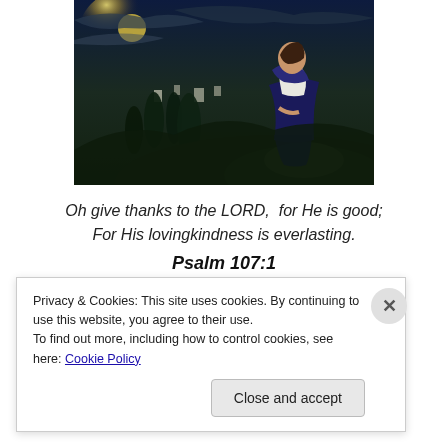[Figure (illustration): Painting of Jesus sitting on a rock overlooking a city at night, wearing white and dark blue robes, with cypress trees and moonlit sky in background]
Oh give thanks to the LORD,  for He is good;
For His lovingkindness is everlasting.
Psalm 107:1
Privacy & Cookies: This site uses cookies. By continuing to use this website, you agree to their use.
To find out more, including how to control cookies, see here: Cookie Policy